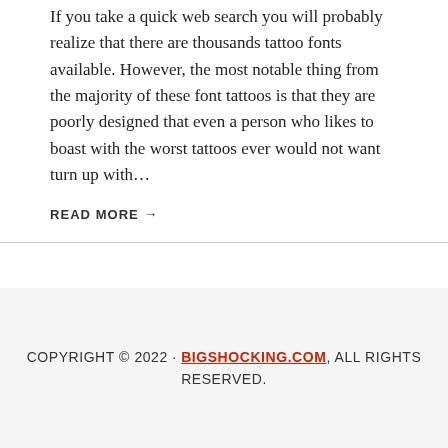If you take a quick web search you will probably realize that there are thousands tattoo fonts available. However, the most notable thing from the majority of these font tattoos is that they are poorly designed that even a person who likes to boast with the worst tattoos ever would not want turn up with…
READ MORE →
COPYRIGHT © 2022 · BIGSHOCKING.COM, ALL RIGHTS RESERVED.